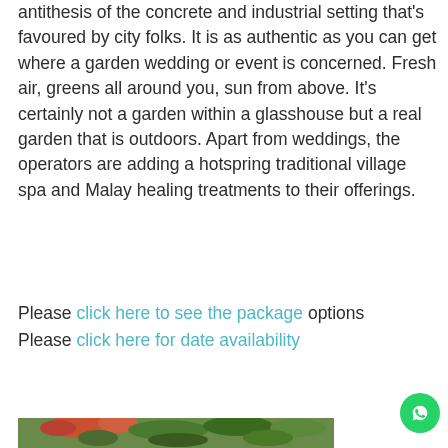antithesis of the concrete and industrial setting that's favoured by city folks. It is as authentic as you can get where a garden wedding or event is concerned. Fresh air, greens all around you, sun from above. It's certainly not a garden within a glasshouse but a real garden that is outdoors. Apart from weddings, the operators are adding a hotspring traditional village spa and Malay healing treatments to their offerings.
Please click here to see the package options
Please click here for date availability
[Figure (photo): Garden photo showing red flowering plants and green foliage/trees]